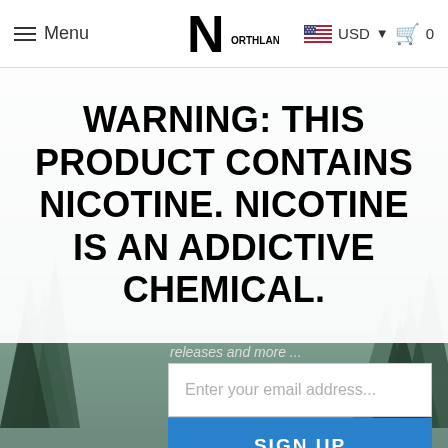Menu | Northland Wholesale | USD | Cart 0
WARNING: THIS PRODUCT CONTAINS NICOTINE. NICOTINE IS AN ADDICTIVE CHEMICAL.
releases and more ...
Enter your email address...
SIGN UP
NICOTINE WARNING
THIS PRODUCT CAN EXPOSE YOU TO CHEMICALS, INCLUDING NICOTINE, WHICH IS KNOWN TO THE STATE OF CALIFORNIA TO CAUSE CANCER, BIRTH DEFECTS, OR OTHER REPRODUCTIVE HARM. FOR MORE